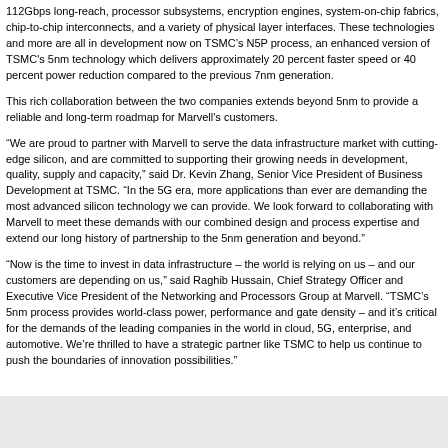112Gbps long-reach, processor subsystems, encryption engines, system-on-chip fabrics, chip-to-chip interconnects, and a variety of physical layer interfaces. These technologies and more are all in development now on TSMC’s N5P process, an enhanced version of TSMC's 5nm technology which delivers approximately 20 percent faster speed or 40 percent power reduction compared to the previous 7nm generation.
This rich collaboration between the two companies extends beyond 5nm to provide a reliable and long-term roadmap for Marvell's customers.
“We are proud to partner with Marvell to serve the data infrastructure market with cutting-edge silicon, and are committed to supporting their growing needs in development, quality, supply and capacity,” said Dr. Kevin Zhang, Senior Vice President of Business Development at TSMC. “In the 5G era, more applications than ever are demanding the most advanced silicon technology we can provide. We look forward to collaborating with Marvell to meet these demands with our combined design and process expertise and extend our long history of partnership to the 5nm generation and beyond.”
“Now is the time to invest in data infrastructure – the world is relying on us – and our customers are depending on us,” said Raghib Hussain, Chief Strategy Officer and Executive Vice President of the Networking and Processors Group at Marvell. “TSMC’s 5nm process provides world-class power, performance and gate density – and it’s critical for the demands of the leading companies in the world in cloud, 5G, enterprise, and automotive. We’re thrilled to have a strategic partner like TSMC to help us continue to push the boundaries of innovation possibilities.”